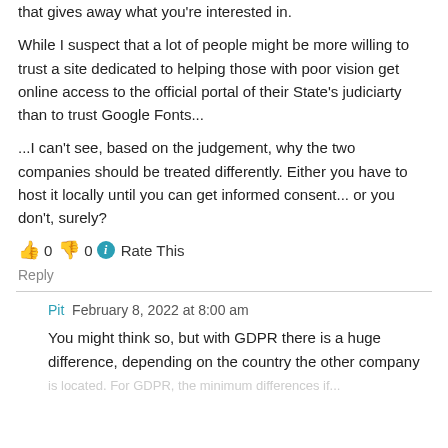that gives away what you're interested in.
While I suspect that a lot of people might be more willing to trust a site dedicated to helping those with poor vision get online access to the official portal of their State's judiciarty than to trust Google Fonts...
...I can't see, based on the judgement, why the two companies should be treated differently. Either you have to host it locally until you can get informed consent... or you don't, surely?
👍 0 👎 0 ℹ Rate This
Reply
Pit  February 8, 2022 at 8:00 am
You might think so, but with GDPR there is a huge difference, depending on the country the other company is located. For GDPR, the minimum differences if...